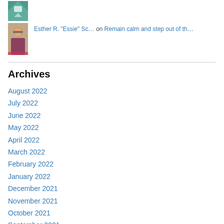[Figure (photo): Small avatar image with teal/green geometric pattern]
Esther R. "Essie" Sc… on Remain calm and step out of th…
[Figure (photo): Profile photo of a woman with glasses]
Archives
August 2022
July 2022
June 2022
May 2022
April 2022
March 2022
February 2022
January 2022
December 2021
November 2021
October 2021
September 2021
August 2021